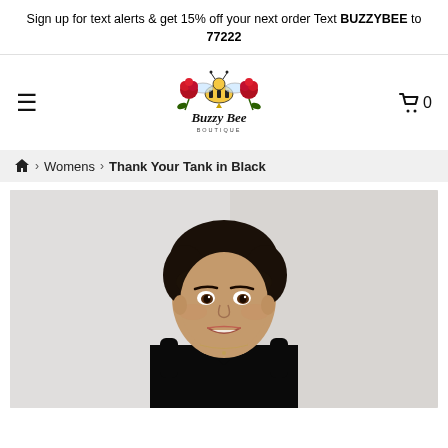Sign up for text alerts & get 15% off your next order Text BUZZYBEE to 77222
[Figure (logo): Buzzy Bee Boutique logo with bee and roses illustration]
≡  🛒 0
🏠 > Womens > Thank Your Tank in Black
[Figure (photo): Woman with dark hair wearing a black tank top (Thank Your Tank in Black), smiling, against a light grey background]